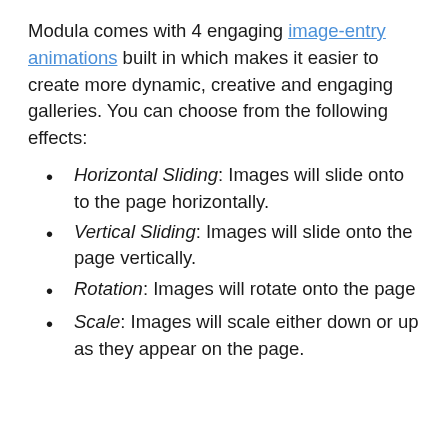Modula comes with 4 engaging image-entry animations built in which makes it easier to create more dynamic, creative and engaging galleries. You can choose from the following effects:
Horizontal Sliding: Images will slide onto to the page horizontally.
Vertical Sliding: Images will slide onto the page vertically.
Rotation: Images will rotate onto the page
Scale: Images will scale either down or up as they appear on the page.